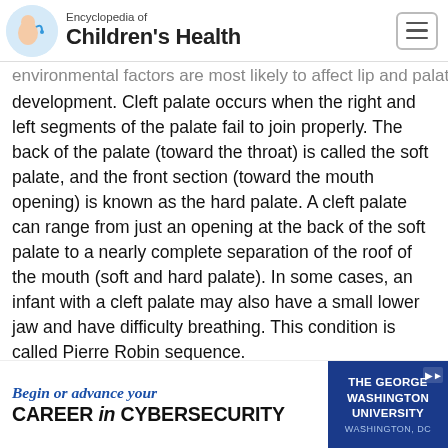Encyclopedia of Children's Health
environmental factors are most likely to affect lip and palate development. Cleft palate occurs when the right and left segments of the palate fail to join properly. The back of the palate (toward the throat) is called the soft palate, and the front section (toward the mouth opening) is known as the hard palate. A cleft palate can range from just an opening at the back of the soft palate to a nearly complete separation of the roof of the mouth (soft and hard palate). In some cases, an infant with a cleft palate may also have a small lower jaw and have difficulty breathing. This condition is called Pierre Robin sequence.
[Figure (other): Advertisement banner for The George Washington University: 'Begin or advance your CAREER in CYBERSECURITY, Washington, DC']